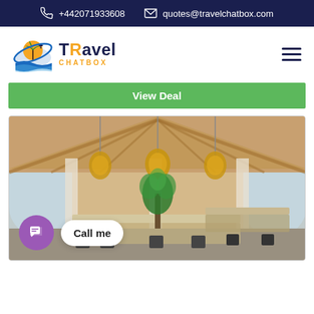+442071933608   quotes@travelchatbox.com
[Figure (logo): Travel Chatbox logo with palm tree, airplane and globe icon, text 'TRavel CHATBOX']
View Deal
[Figure (photo): Interior of a restaurant or hotel dining area with high vaulted wooden ceiling, pendant rattan lights, long dining tables and chairs, arched windows, and a potted palm plant in the center. Chat button and 'Call me' speech bubble overlay in bottom left.]